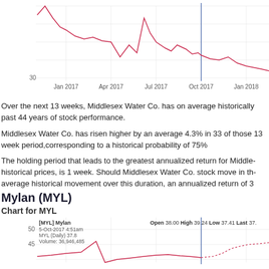[Figure (continuous-plot): Stock price line chart for Middlesex Water Co. showing price movement from Jan 2017 through approximately Apr 2018. X-axis shows dates: Jan 2017, Apr 2017, Jul 2017, Oct 2017, Jan 2018, Apr. Y-axis label shows 30. A vertical blue line appears near Oct 2017. The price line is pink/red showing volatility.]
Over the next 13 weeks, Middlesex Water Co. has on average historically past 44 years of stock performance.
Middlesex Water Co. has risen higher by an average 4.3% in 33 of those 13 week period,corresponding to a historical probability of 75%
The holding period that leads to the greatest annualized return for Middlesex historical prices, is 1 week. Should Middlesex Water Co. stock move in the average historical movement over this duration, an annualized return of 3...
Mylan (MYL)
Chart for MYL
[Figure (continuous-plot): Stock price line chart for MYL (Mylan). Header shows: [MYL] Mylan, 5-Oct-2017 4:51am, Open 38.00 High 39.24 Low 37.41 Last 37. Y-axis shows 50 at top and 45 lower. MYL (Daily) 37.8, Volume: 36,946,485. A vertical blue line near Oct 2017. The price line is pink/red with a spike around April 2017 reaching ~45, then declining, then rising with dashed line toward Apr 2018 area reaching ~45.]